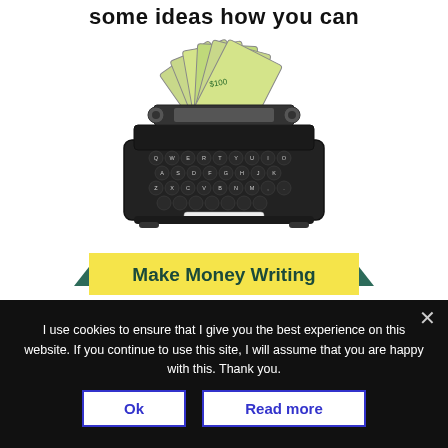some ideas how you can
[Figure (illustration): A vintage black typewriter with US dollar bills fanned out from the top, and a yellow ribbon banner below reading 'Make Money Writing' with dark teal arrow accents on each side.]
I use cookies to ensure that I give you the best experience on this website. If you continue to use this site, I will assume that you are happy with this. Thank you.
Ok
Read more